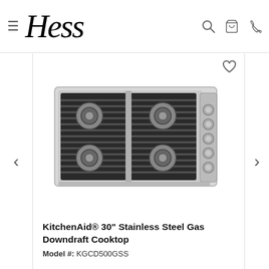Hess — navigation header with hamburger menu, logo, search, cart, and phone icons
[Figure (photo): KitchenAid 30-inch stainless steel gas downdraft cooktop with 4 burners and cast iron grates, viewed from above, controls on right side]
KitchenAid® 30" Stainless Steel Gas Downdraft Cooktop
Model #: KGCD500GSS